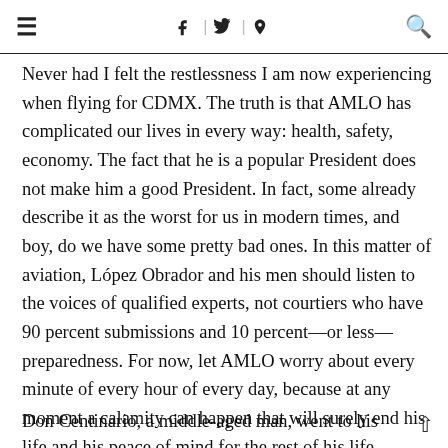≡  f | 𝕋 | ⊕  🔍
Never had I felt the restlessness I am now experiencing when flying for CDMX. The truth is that AMLO has complicated our lives in every way: health, safety, economy. The fact that he is a popular President does not make him a good President. In fact, some already describe it as the worst for us in modern times, and boy, do we have some pretty bad ones. In this matter of aviation, López Obrador and his men should listen to the voices of qualified experts, not courtiers who have 90 percent submissions and 10 percent—or less—preparedness. For now, let AMLO worry about every minute of every hour of every day, because at any moment a calamity can happen that will surely end his life and his peace of mind for the rest of his life.
Don Centinario, a middle-aged man, went to his